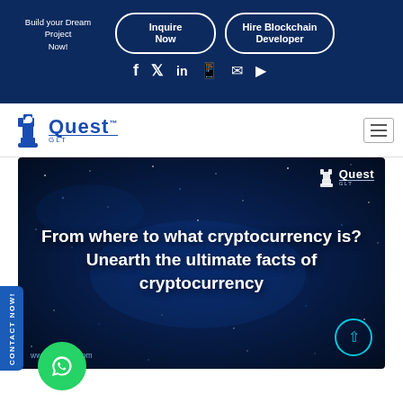Build your Dream Project Now!
Inquire Now
Hire Blockchain Developer
[Figure (logo): Quest GLT logo with chess piece icon]
[Figure (screenshot): Dark blue banner with starfield background and white bold text reading: From where to what cryptocurrency is? Unearth the ultimate facts of cryptocurrency. Quest logo top right. URL www.questglt.com bottom left. Cyan scroll-up circle button bottom right.]